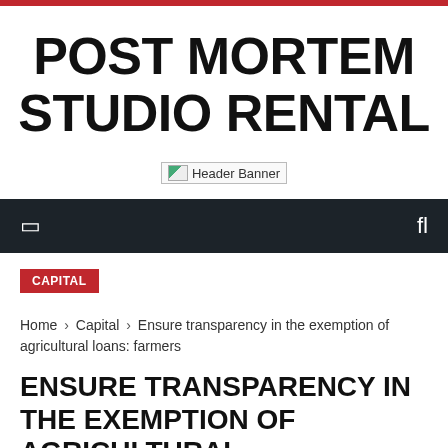POST MORTEM STUDIO RENTAL
[Figure (other): Header Banner image placeholder]
CAPITAL
Home › Capital › Ensure transparency in the exemption of agricultural loans: farmers
ENSURE TRANSPARENCY IN THE EXEMPTION OF AGRICULTURAL